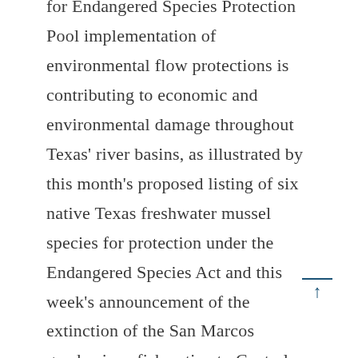for Endangered Species Protection Pool implementation of environmental flow protections is contributing to economic and environmental damage throughout Texas' river basins, as illustrated by this month's proposed listing of six native Texas freshwater mussel species for protection under the Endangered Species Act and this week's announcement of the extinction of the San Marcos gambusia, a fish native to Central Texas.  According to new analysis by the National Wildlife Federation, implementation of Senate Bill 3 (SB 3, enacted in 2007) — Texas' landmark regulatory process for flow protection — is faltering on multiple levels